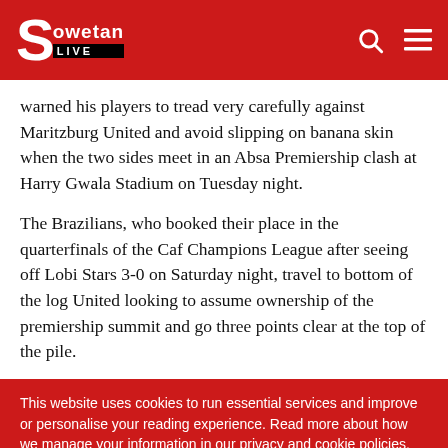Sowetan LIVE
warned his players to tread very carefully against Maritzburg United and avoid slipping on banana skin when the two sides meet in an Absa Premiership clash at Harry Gwala Stadium on Tuesday night.
The Brazilians, who booked their place in the quarterfinals of the Caf Champions League after seeing off Lobi Stars 3-0 on Saturday night, travel to bottom of the log United looking to assume ownership of the premiership summit and go three points clear at the top of the pile.
This website uses cookies to run essential services and improve or personalise your reading experience. Read more about how we manage your information in our privacy and cookie policies.
Accept cookies